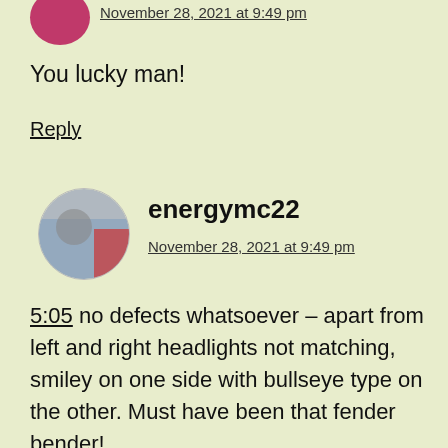November 28, 2021 at 9:49 pm
You lucky man!
Reply
energymc22
November 28, 2021 at 9:49 pm
5:05 no defects whatsoever – apart from left and right headlights not matching, smiley on one side with bullseye type on the other. Must have been that fender bender!